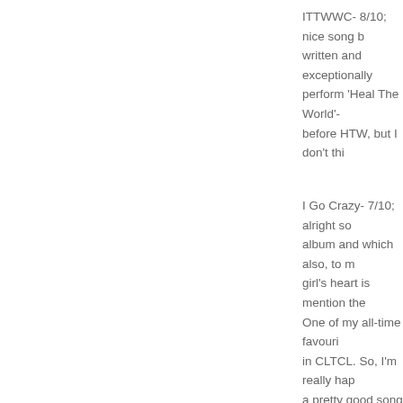ITTWWC- 8/10; nice song b... written and exceptionally ... perform 'Heal The World'-... before HTW, but I don't thi...
I Go Crazy- 7/10; alright so... album and which also, to m... girl's heart is mention the ... One of my all-time favouri... in CLTCL. So, I'm really hap... a pretty good song as well.
Hi, Amazon and Sebastian!
Thanks for the great and h...
Does anyone can help me...
I enjoy this album a lot, bu... least it feels so short? Don'... this album; and there are, ... tour - the first few gigs are...